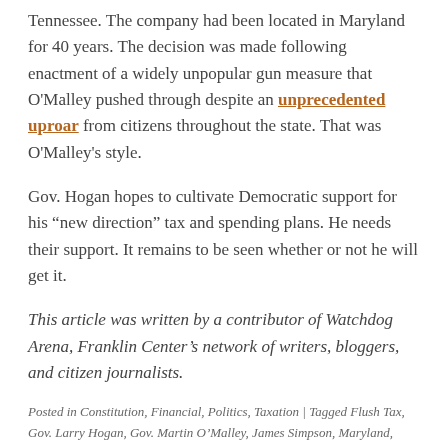Tennessee. The company had been located in Maryland for 40 years. The decision was made following enactment of a widely unpopular gun measure that O'Malley pushed through despite an unprecedented uproar from citizens throughout the state. That was O'Malley's style.
Gov. Hogan hopes to cultivate Democratic support for his “new direction” tax and spending plans. He needs their support. It remains to be seen whether or not he will get it.
This article was written by a contributor of Watchdog Arena, Franklin Center’s network of writers, bloggers, and citizen journalists.
Posted in Constitution, Financial, Politics, Taxation | Tagged Flush Tax, Gov. Larry Hogan, Gov. Martin O’Malley, James Simpson, Maryland, Rain Tax |
The EPA’s Ozone Nightmare